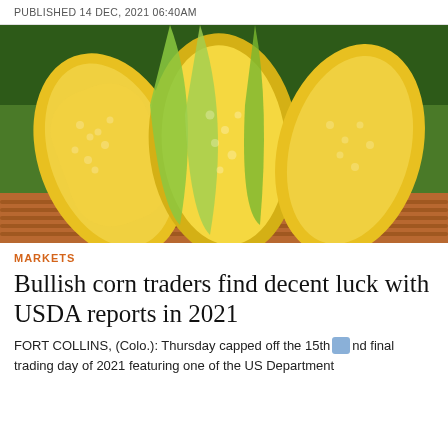PUBLISHED 14 DEC, 2021 06:40AM
[Figure (photo): Close-up photograph of fresh corn on the cob with husks partially peeled back, arranged in a wicker basket against a green background.]
MARKETS
Bullish corn traders find decent luck with USDA reports in 2021
FORT COLLINS, (Colo.): Thursday capped off the 15th and final trading day of 2021 featuring one of the US Department